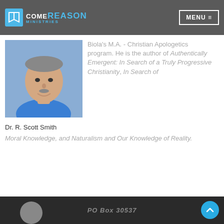Come Reason Ministries — MENU
[Figure (photo): Headshot of Dr. R. Scott Smith, a middle-aged man with grey hair and mustache wearing a blue shirt, smiling against a blue background]
Dr. R. Scott Smith
Biola's M.A. - Christian Apologetics program. He is the author of Authentically Emergent: In Search of a Truly Progressive Christianity, In Search of Moral Knowledge, and Naturalism and Our Knowledge of Reality.
PO Box 30537